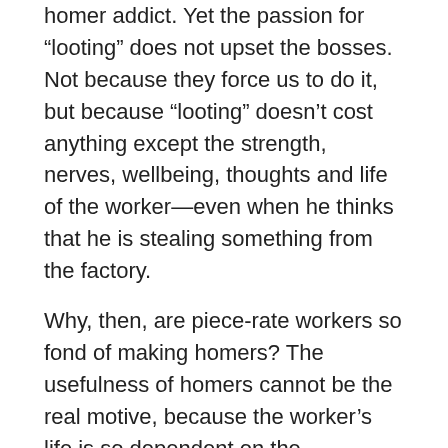homer addict. Yet the passion for “looting” does not upset the bosses. Not because they force us to do it, but because “looting” doesn’t cost anything except the strength, nerves, wellbeing, thoughts and life of the worker—even when he thinks that he is stealing something from the factory.
Why, then, are piece-rate workers so fond of making homers? The usefulness of homers cannot be the real motive, because the worker’s life is so dependent on the workshop, the machine, his materials, and his eight-hour shifts that there is no chance whatever of his making anything which he really needs. It would be a dubious triumph for “do-it-yourself”—given the gigantic level of infringements that would be involved—if the conditions of work were such that they permitted workers to make